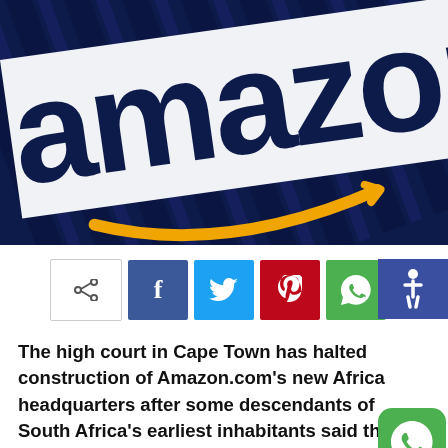[Figure (photo): Amazon logo sign on a building with blue corrugated metal facade. The white Amazon logo with orange arrow/smile is visible against dark blue diagonal stripes background.]
[Figure (infographic): Social sharing bar with share icon, Facebook (f), Twitter (bird), Pinterest (p), WhatsApp icons, and accessibility icon on the right.]
The high court in Cape Town has halted construction of Amazon.com's new Africa headquarters after some descendants of South Africa's earliest inhabitants said the land it would be built on was sacred.